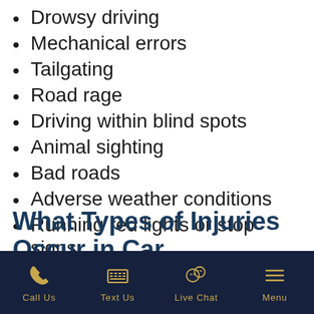Drowsy driving
Mechanical errors
Tailgating
Road rage
Driving within blind spots
Animal sighting
Bad roads
Adverse weather conditions
Running red lights or stop signs
What Types of Injuries Occur in Car Accidents?
Call Us   Text Us   Live Chat   Menu